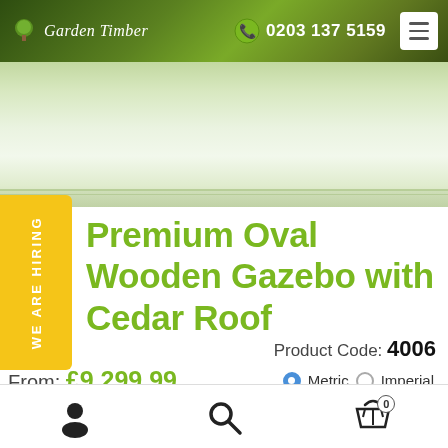Garden Timber — 0203 137 5159
[Figure (photo): Product image of a wooden gazebo with cedar roof, light green/white background]
Premium Oval Wooden Gazebo with Cedar Roof
Product Code: 4006
From: £9,299.99  Metric (selected)  Imperial
User account icon, Search icon, Shopping basket icon with 0 items